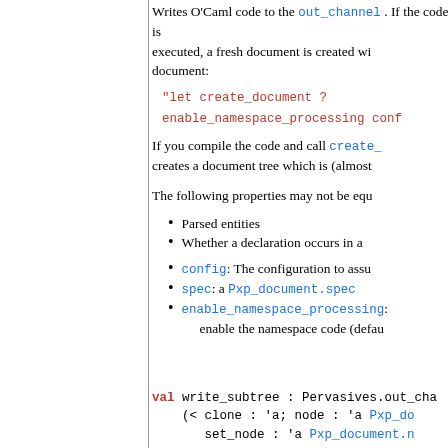Writes O'Caml code to the out_channel. If the code is executed, a fresh document is created which is equal to the document:
"let create_document ?enable_namespace_processing conf...
If you compile the code and call create_... creates a document tree which is (almost...
The following properties may not be equ...
Parsed entities
Whether a declaration occurs in a...
config: The configuration to assu...
spec: a Pxp_document.spec
enable_namespace_processing: enable the namespace code (defau...
val write_subtree : Pervasives.out_cha... (< clone : 'a; node : 'a Pxp_do... set_node : 'a Pxp_document.n... as 'a)